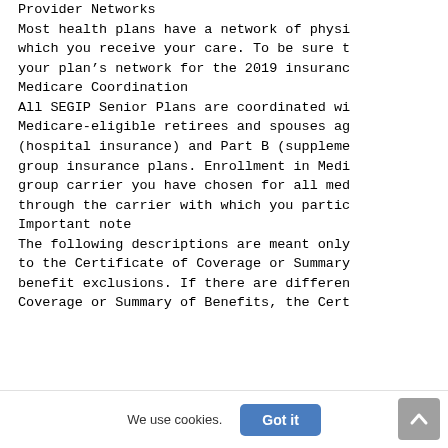Provider Networks
Most health plans have a network of physi which you receive your care. To be sure t your plan's network for the 2019 insuranc
Medicare Coordination
All SEGIP Senior Plans are coordinated wi Medicare-eligible retirees and spouses ag (hospital insurance) and Part B (suppleme group insurance plans. Enrollment in Medi group carrier you have chosen for all med through the carrier with which you partic
Important note
The following descriptions are meant only to the Certificate of Coverage or Summary benefit exclusions. If there are differen Coverage or Summary of Benefits, the Cert